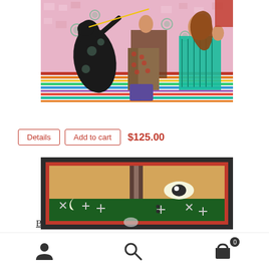[Figure (illustration): Colorful folk art painting showing a black dog, a person with patterned pants, and a woman in a teal top, against a pink patterned background with a striped floor]
Bubble Biter by Chris Roberts-Antieau
Details | Add to cart | $125.00
[Figure (illustration): Folk art painting with dark green and tan composition, featuring an eye motif, crescent moon, and cross/star symbols on dark background with red border]
Navigation bar with user icon, search icon, and cart icon with badge showing 0